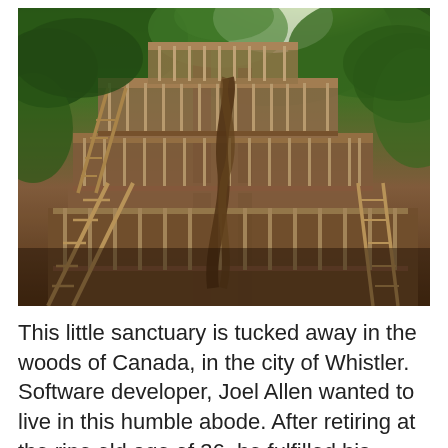[Figure (photo): Upward-looking photograph of a massive multi-story wooden treehouse structure built around large trees, with wooden railings, platforms, ladders, and staircases visible. Green tree canopy and bright sunlight visible at the top.]
This little sanctuary is tucked away in the woods of Canada, in the city of Whistler. Software developer, Joel Allen wanted to live in this humble abode. After retiring at the ripe old age of 36, he fulfilled his dreams of